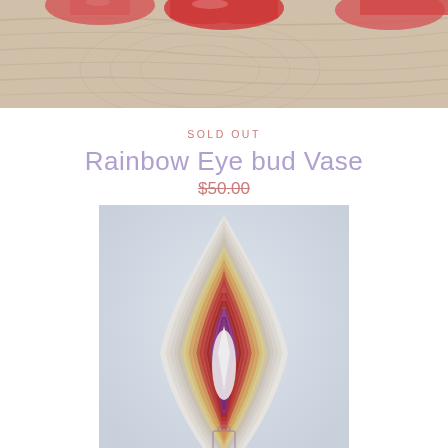[Figure (photo): Top cropped product photo showing ceramic vases on a wooden surface with warm pink/red glazed pieces visible]
SOLD OUT
Rainbow Eye bud Vase
$50.00
[Figure (photo): Rainbow Eye bud Vase product photo showing a tall eye/leaf-shaped ceramic vase with layered rainbow stripes of cream, yellow, orange, red, and purple, photographed against a light blue-grey background]